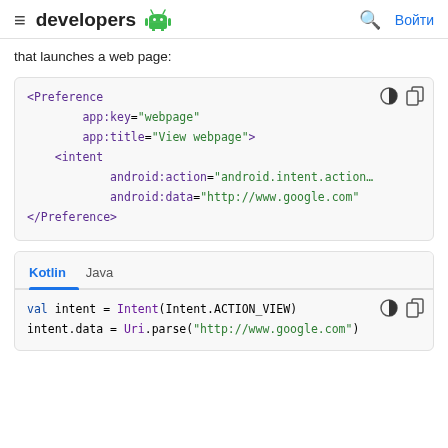developers  [Android logo]  [search icon]  Войти
that launches a web page:
[Figure (screenshot): XML code block showing a Preference element with app:key="webpage", app:title="View webpage", and an intent with android:action and android:data attributes pointing to http://www.google.com]
[Figure (screenshot): Kotlin/Java tab code block showing: val intent = Intent(Intent.ACTION_VIEW) and intent.data = Uri.parse("http://www.google.com")]